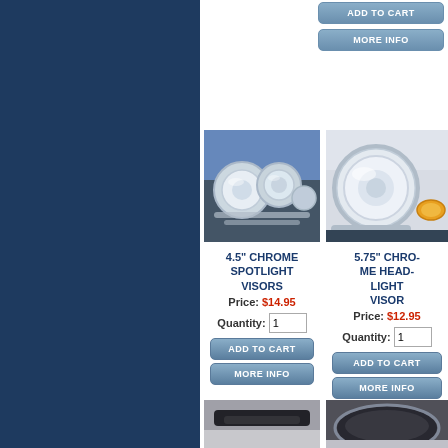[Figure (other): Add to Cart button (top, partial product)]
[Figure (other): More Info button (top, partial product)]
[Figure (photo): Photo of 4.5 inch chrome spotlight visors on a motorcycle]
4.5" CHROME SPOTLIGHT VISORS
Price: $14.95
Quantity: 1
[Figure (other): ADD TO CART button]
[Figure (other): MORE INFO button]
[Figure (photo): Photo of 5.75 inch chrome headlight visor on a motorcycle]
5.75" CHROME HEADLIGHT VISOR
Price: $12.95
Quantity: 1
[Figure (other): ADD TO CART button]
[Figure (other): MORE INFO button]
[Figure (photo): Photo of a motorcycle part (bottom left, partial)]
[Figure (photo): Photo of a dark motorcycle visor or accessory (bottom right, partial)]